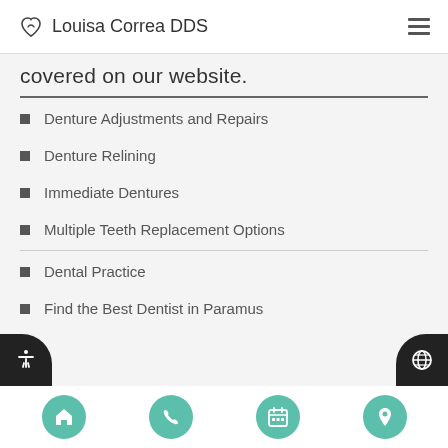Louisa Correa DDS
covered on our website.
Denture Adjustments and Repairs
Denture Relining
Immediate Dentures
Multiple Teeth Replacement Options
Dental Practice
Find the Best Dentist in Paramus